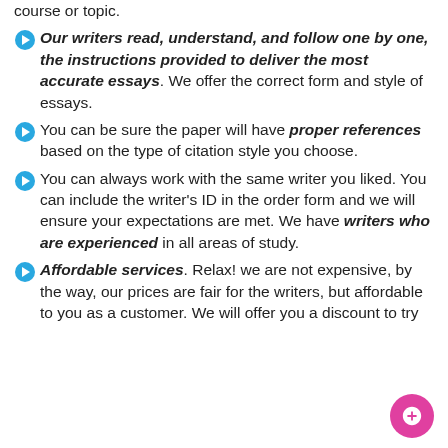course or topic.
Our writers read, understand, and follow one by one, the instructions provided to deliver the most accurate essays. We offer the correct form and style of essays.
You can be sure the paper will have proper references based on the type of citation style you choose.
You can always work with the same writer you liked. You can include the writer's ID in the order form and we will ensure your expectations are met. We have writers who are experienced in all areas of study.
Affordable services. Relax! we are not expensive, by the way, our prices are fair for the writers, but affordable to you as a customer. We will offer you a discount to try